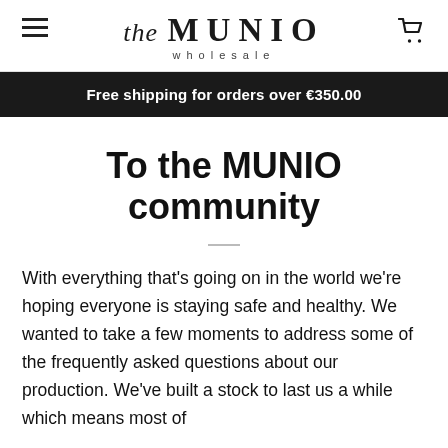the MUNIO wholesale
Free shipping for orders over €350.00
To the MUNIO community
With everything that's going on in the world we're hoping everyone is staying safe and healthy. We wanted to take a few moments to address some of the frequently asked questions about our production. We've built a stock to last us a while which means most of